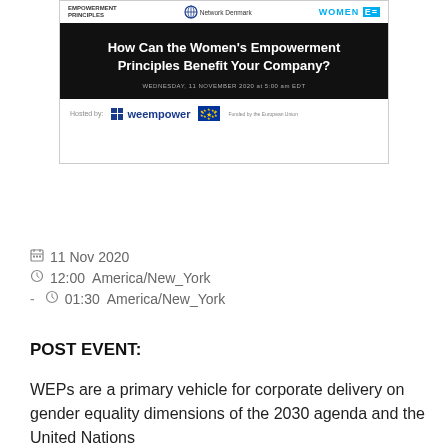[Figure (screenshot): Screenshot of a webinar banner for 'How Can the Women's Empowerment Principles Benefit Your Company?' hosted by weempower, dated Wednesday, 11 November 2020 at 5:00 am EDT, with logos for Women's Empowerment Principles, Network Denmark, UN Women, weempower, and the EU.]
11 Nov 2020
12:00  America/New_York
-    01:30  America/New_York
POST EVENT:
WEPs are a primary vehicle for corporate delivery on gender equality dimensions of the 2030 agenda and the United Nations